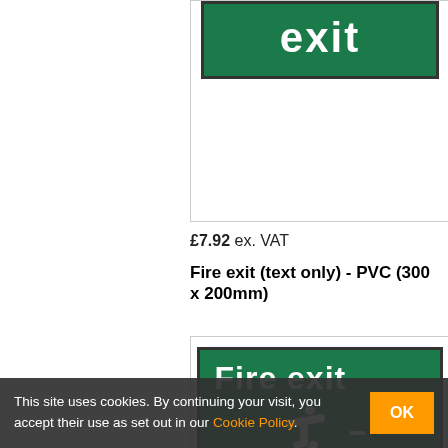[Figure (photo): Fire exit sign (text only) on white background - green sign with white 'exit' text visible at top, cropped]
£7.92 ex. VAT
Fire exit (text only) - PVC (300 x 200mm)
[Figure (photo): Fire exit sign with running man icon - green background with white 'Fire exit' text and running person arrow symbol]
This site uses cookies. By continuing your visit, you accept their use as set out in our Cookie Policy.